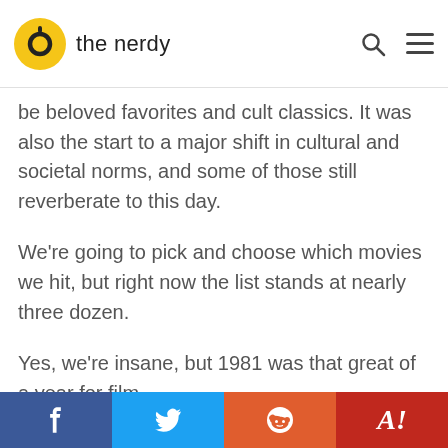the nerdy
be beloved favorites and cult classics. It was also the start to a major shift in cultural and societal norms, and some of those still reverberate to this day.
We're going to pick and choose which movies we hit, but right now the list stands at nearly three dozen.
Yes, we're insane, but 1981 was that great of a year for film.
The articles will come out – in most cases – on the same day the films hit theaters in 1981 so that it is their true 40th anniversary. All films are
Facebook | Twitter | Reddit | Yahoo